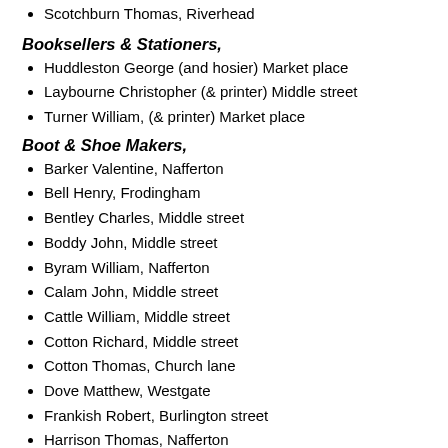Scotchburn Thomas, Riverhead
Booksellers & Stationers,
Huddleston George (and hosier) Market place
Laybourne Christopher (& printer) Middle street
Turner William, (& printer) Market place
Boot & Shoe Makers,
Barker Valentine, Nafferton
Bell Henry, Frodingham
Bentley Charles, Middle street
Boddy John, Middle street
Byram William, Nafferton
Calam John, Middle street
Cattle William, Middle street
Cotton Richard, Middle street
Cotton Thomas, Church lane
Dove Matthew, Westgate
Frankish Robert, Burlington street
Harrison Thomas, Nafferton
Hillaby John, Nafferton
Idell Ralph, Frodingham